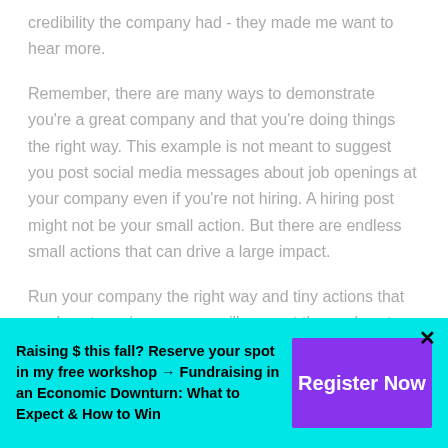credibility the company had - they made me want to hear more.
Remember, there are many ways to demonstrate you're a great company and that you're doing things the right way. This example is not meant to suggest you post social media messages about job openings at your company even if you're not hiring. A hiring post might not be your small action. But there are endless small actions that can drive a large impact.
Run your company the right way and tiny actions that produce towering revenue will present themselves to you.
Raising $ this fall? Reserve your spot in my free workshop → Fundraising in an Economic Downturn: What to Expect & How to Win
Register Now